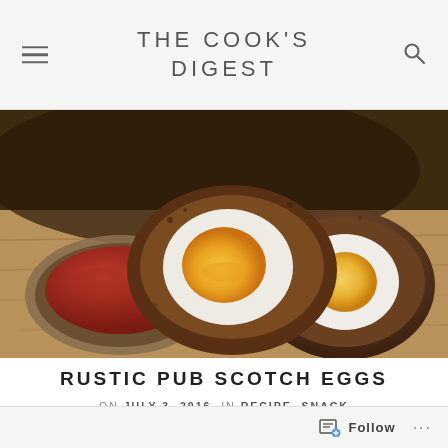THE COOK'S DIGEST
[Figure (photo): Scotch eggs cut in half showing soft-boiled egg yolks inside meat coating, served on a wooden board with a small bowl of red dipping sauce]
RUSTIC PUB SCOTCH EGGS
ON JULY 3, 2016  IN RECIPE, SNACK
Follow ...